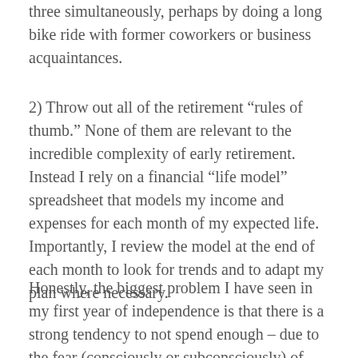three simultaneously, perhaps by doing a long bike ride with former coworkers or business acquaintances.
2) Throw out all of the retirement “rules of thumb.” None of them are relevant to the incredible complexity of early retirement. Instead I rely on a financial “life model” spreadsheet that models my income and expenses for each month of my expected life. Importantly, I review the model at the end of each month to look for trends and to adapt my plan where necessary.
Honestly, the biggest problem I have seen in my first year of independence is that there is a strong tendency to not spend enough – due to the fear (consciously or subconsciously) of running out of money. To combat this, we have instituted a “Goal Day” where if we meet our financial goals for the